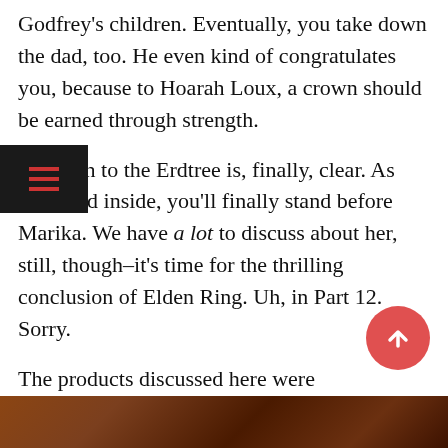Godfrey's children. Eventually, you take down the dad, too. He even kind of congratulates you, because to Hoarah Loux, a crown should be earned through strength.

The path to the Erdtree is, finally, clear. As you head inside, you'll finally stand before Marika. We have a lot to discuss about her, still, though–it's time for the thrilling conclusion of Elden Ring. Uh, in Part 12. Sorry.

The products discussed here were independently chosen by our editors. GameSpot may get a share of the revenue if you buy anything featured on our site.
[Figure (screenshot): Bottom portion of page showing a dark reddish-brown image, likely a game screenshot from Elden Ring]